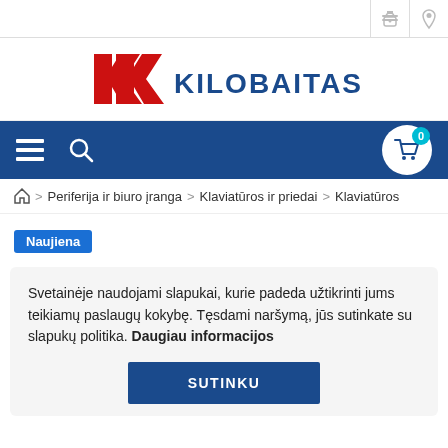[Figure (logo): KK Kilobaitas logo with red stylized KK letters and blue KILOBAITAS text]
Navigation bar with menu icon, search icon, and shopping cart with 0 items
Periferija ir biuro įranga > Klaviatūros ir priedai > Klaviatūros
Naujiena
Svetainėje naudojami slapukai, kurie padeda užtikrinti jums teikiamų paslaugų kokybę. Tęsdami naršymą, jūs sutinkate su slapukų politika. Daugiau informacijos
SUTINKU